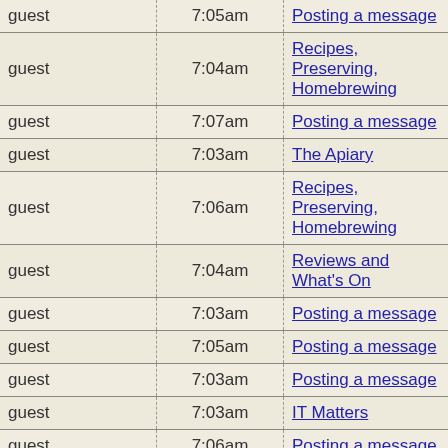| User | Time | Page |
| --- | --- | --- |
| guest | 7:05am | Posting a message |
| guest | 7:04am | Recipes, Preserving, Homebrewing |
| guest | 7:07am | Posting a message |
| guest | 7:03am | The Apiary |
| guest | 7:06am | Recipes, Preserving, Homebrewing |
| guest | 7:04am | Reviews and What's On |
| guest | 7:03am | Posting a message |
| guest | 7:05am | Posting a message |
| guest | 7:03am | Posting a message |
| guest | 7:03am | IT Matters |
| guest | 7:06am | Posting a message |
| guest | 7:05am | Posting a message |
| guest | 7:08am | Grow Your Own |
| guest | 7:05am | Posting a message |
| guest | 7:0?am | Posting a message |